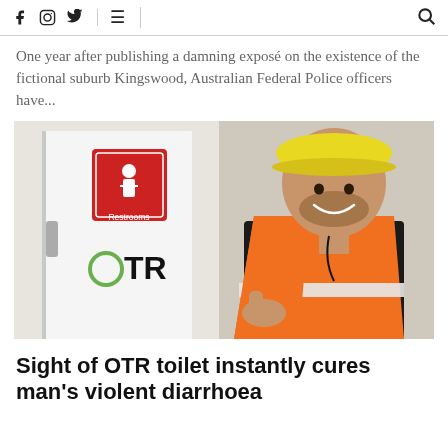Social media icons: Facebook, Instagram, Twitter | Menu | Search
One year after publishing a damning exposé on the existence of the fictional suburb Kingswood, Australian Federal Police officers have...
[Figure (photo): A smiling man wearing an orange high-visibility vest and yellow hard hat gives a thumbs up next to a white door with a red Restrooms sign and OTR logo]
Sight of OTR toilet instantly cures man's violent diarrhoea